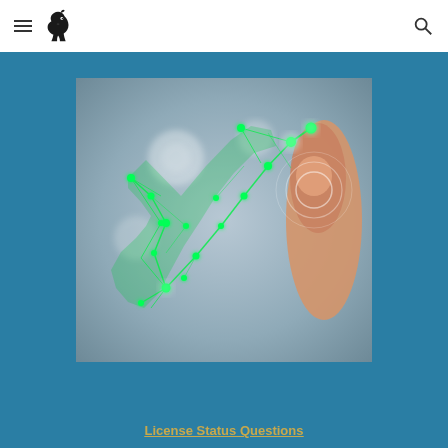Navigation bar with hamburger menu, horse logo, and search icon
[Figure (photo): Digital network checkmark graphic with glowing green geometric check mark made of connected dots and lines, with a human finger pointing/touching it on a blurred background]
License Status Questions